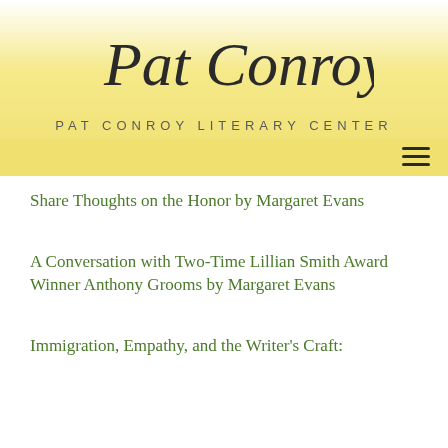[Figure (logo): Pat Conroy signature in cursive script above 'PAT CONROY LITERARY CENTER' text, on a gradient yellow background]
Share Thoughts on the Honor by Margaret Evans
A Conversation with Two-Time Lillian Smith Award Winner Anthony Grooms by Margaret Evans
Immigration, Empathy, and the Writer's Craft: